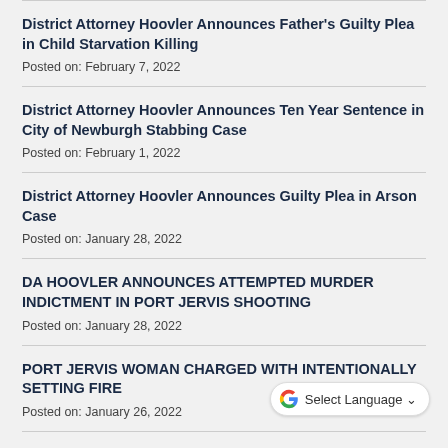District Attorney Hoovler Announces Father's Guilty Plea in Child Starvation Killing
Posted on: February 7, 2022
District Attorney Hoovler Announces Ten Year Sentence in City of Newburgh Stabbing Case
Posted on: February 1, 2022
District Attorney Hoovler Announces Guilty Plea in Arson Case
Posted on: January 28, 2022
DA HOOVLER ANNOUNCES ATTEMPTED MURDER INDICTMENT IN PORT JERVIS SHOOTING
Posted on: January 28, 2022
PORT JERVIS WOMAN CHARGED WITH INTENTIONALLY SETTING FIRE
Posted on: January 26, 2022